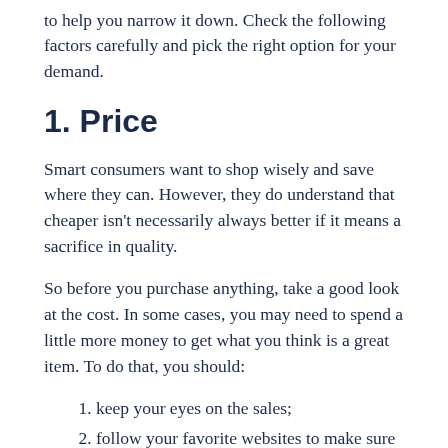to help you narrow it down. Check the following factors carefully and pick the right option for your demand.
1. Price
Smart consumers want to shop wisely and save where they can. However, they do understand that cheaper isn't necessarily always better if it means a sacrifice in quality.
So before you purchase anything, take a good look at the cost. In some cases, you may need to spend a little more money to get what you think is a great item. To do that, you should:
keep your eyes on the sales;
follow your favorite websites to make sure you don't miss any great deals.
2. Necessity